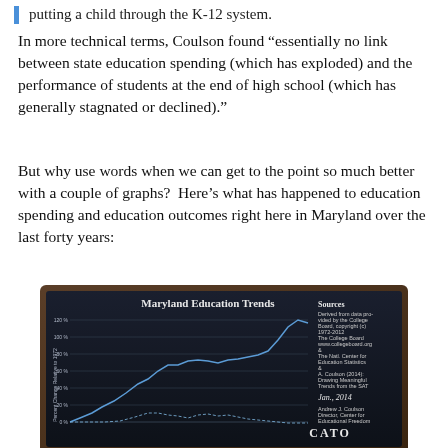putting a child through the K-12 system.
In more technical terms, Coulson found “essentially no link between state education spending (which has exploded) and the performance of students at the end of high school (which has generally stagnated or declined).”
But why use words when we can get to the point so much better with a couple of graphs?  Here’s what has happened to education spending and education outcomes right here in Maryland over the last forty years:
[Figure (continuous-plot): Chalkboard-style chart titled 'Maryland Education Trends' showing two lines plotting Percent Change Relative to 1972 over approximately 1972-2012. One line rises steeply (spending), another stays relatively flat (outcomes). Sources listed: College Board 1972-2012, The Nat. Center for Education Statistics, A. Coulson (2014) Drawing Meaningful Trends from the SAT, Jan., 2014. Attribution: Andrew J. Coulson, Director, Center for Educational Freedom, CATO Institute.]